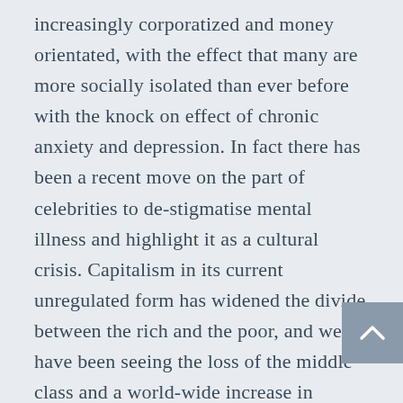increasingly corporatized and money orientated, with the effect that many are more socially isolated than ever before with the knock on effect of chronic anxiety and depression. In fact there has been a recent move on the part of celebrities to de-stigmatise mental illness and highlight it as a cultural crisis. Capitalism in its current unregulated form has widened the divide between the rich and the poor, and we have been seeing the loss of the middle class and a world-wide increase in poverty e.g. food banks are much more commonplace in western countries than before and form vital support to low-income groups, and there has been a significant rise in homelessness. Despite pro-capitalist